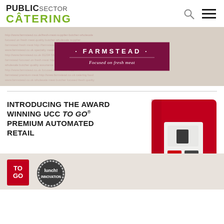PUBLIC SECTOR CATERING
[Figure (photo): Farmstead - Focused on fresh meat promotional banner with decorative text background]
[Figure (infographic): Introducing the award winning UCC TO GO premium automated retail - red vending machine advertisement with lunch innovation badge]
INTRODUCING THE AWARD WINNING UCC TO GO® PREMIUM AUTOMATED RETAIL